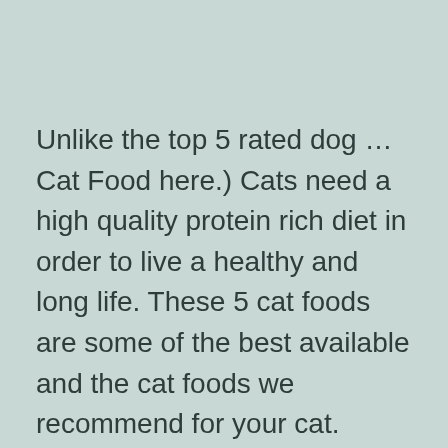Unlike the top 5 rated dog … Cat Food here.) Cats need a high quality protein rich diet in order to live a healthy and long life. These 5 cat foods are some of the best available and the cat foods we recommend for your cat. Originally published March …
Choosing Safe Toys For Your Puppy – Puppies – About.com – Read about what homemade toys for dogs work well. … Many pups think the best game of all is to disembowel squeakers or